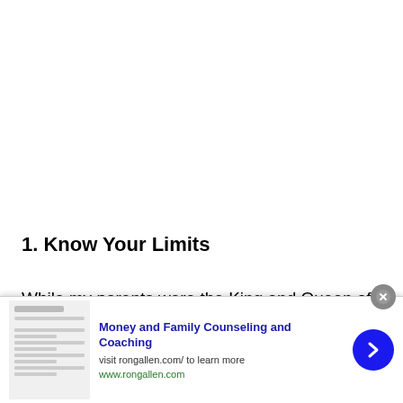1. Know Your Limits
While my parents were the King and Queen of Frugal clipping coupons, and growing vegetables in the backyard, there was one money-saving tactic they refused to do: buy
[Figure (other): Advertisement banner for 'Money and Family Counseling and Coaching' by rongallen.com, with a thumbnail image of a document, a blue bold title, subtitle text 'visit rongallen.com/ to learn more', a green URL 'www.rongallen.com', a blue circular arrow button, and a gray close (X) button.]